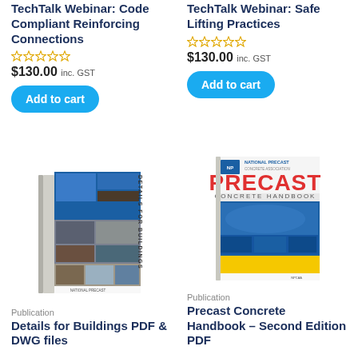TechTalk Webinar: Code Compliant Reinforcing Connections
☆☆☆☆☆
$130.00 inc. GST
Add to cart
TechTalk Webinar: Safe Lifting Practices
☆☆☆☆☆
$130.00 inc. GST
Add to cart
[Figure (photo): Book cover: Details for Buildings PDF & DWG files, National Precast publication with collage of building images]
Publication
Details for Buildings PDF & DWG files
[Figure (photo): Book cover: Precast Concrete Handbook Second Edition PDF, National Precast Concrete Association Australia, with blue cover and concrete structure images]
Publication
Precast Concrete Handbook – Second Edition PDF